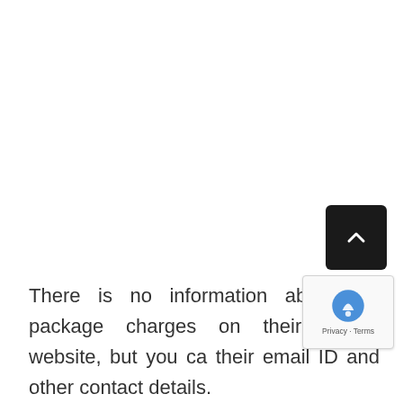There is no information about the package charges on their official website, but you can their email ID and other contact details.